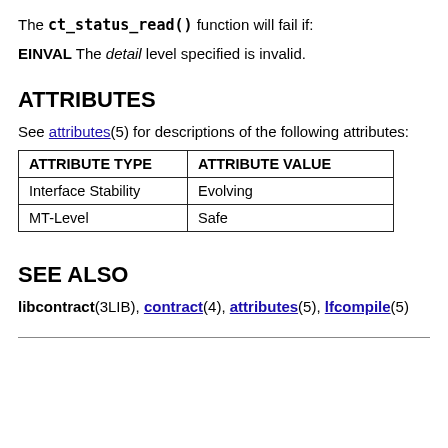The ct_status_read() function will fail if:
EINVAL The detail level specified is invalid.
ATTRIBUTES
See attributes(5) for descriptions of the following attributes:
| ATTRIBUTE TYPE | ATTRIBUTE VALUE |
| --- | --- |
| Interface Stability | Evolving |
| MT-Level | Safe |
SEE ALSO
libcontract(3LIB), contract(4), attributes(5), lfcompile(5)